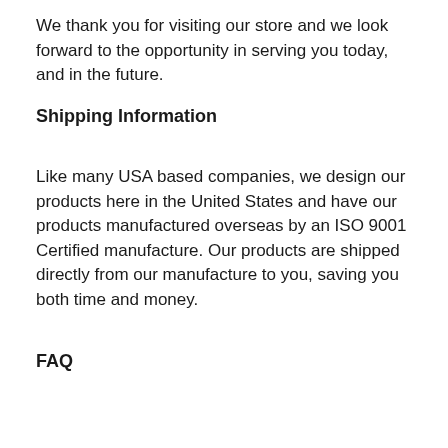We thank you for visiting our store and we look forward to the opportunity in serving you today, and in the future.
Shipping Information
Like many USA based companies, we design our products here in the United States and have our products manufactured overseas by an ISO 9001 Certified manufacture.  Our products are shipped directly from our manufacture to you, saving you both time and money.
FAQ